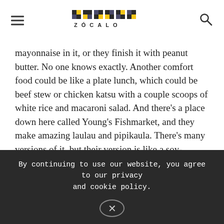ZÓCALO
mayonnaise in it, or they finish it with peanut butter. No one knows exactly. Another comfort food could be like a plate lunch, which could be beef stew or chicken katsu with a couple scoops of white rice and macaroni salad. And there's a place down here called Young's Fishmarket, and they make amazing laulau and pipikaula. There's many versions of it, but their version is like a soy-marinated beef that's air-dried. So
By continuing to use our website, you agree to our privacy and cookie policy.